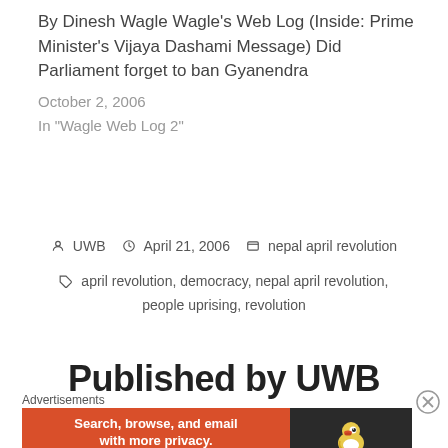By Dinesh Wagle Wagle's Web Log (Inside: Prime Minister's Vijaya Dashami Message) Did Parliament forget to ban Gyanendra
October 2, 2006
In "Wagle Web Log 2"
UWB  April 21, 2006  nepal april revolution
april revolution, democracy, nepal april revolution, people uprising, revolution
Published by UWB
Advertisements
[Figure (other): DuckDuckGo advertisement banner: orange section with text 'Search, browse, and email with more privacy. All in One Free App' and dark section with DuckDuckGo duck logo and 'DuckDuckGo' text]